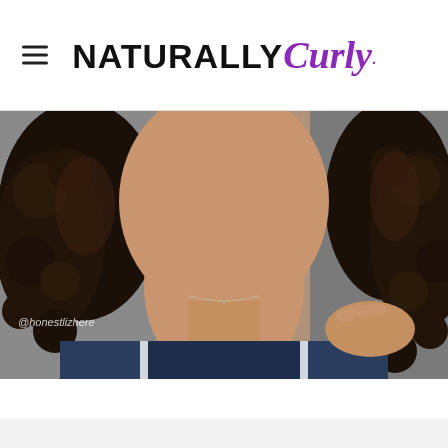NATURALLY Curly
[Figure (photo): Close-up photo of a smiling woman with curly dark hair, wearing a navy sleeveless top and a delicate necklace. Instagram handle @honestlizhere visible in bottom left.]
[Figure (infographic): GEICO advertisement banner: 'You could save wherever life takes you!' with illustrated icons of a house, building, camper, motorcycle, and car along a road, plus GEICO logo and 'Get A Quote' green button. Close (X) button in top right.]